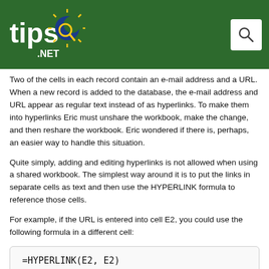tips.NET
Two of the cells in each record contain an e-mail address and a URL. When a new record is added to the database, the e-mail address and URL appear as regular text instead of as hyperlinks. To make them into hyperlinks Eric must unshare the workbook, make the change, and then reshare the workbook. Eric wondered if there is, perhaps, an easier way to handle this situation.
Quite simply, adding and editing hyperlinks is not allowed when using a shared workbook. The simplest way around it is to put the links in separate cells as text and then use the HYPERLINK formula to reference those cells.
For example, if the URL is entered into cell E2, you could use the following formula in a different cell:
The first argument in this formula is to the cell that contains the address and the second argument is for the text to be displayed for the hyperlink. This approach requires two additional columns (for the HYPERLINK formulas) but